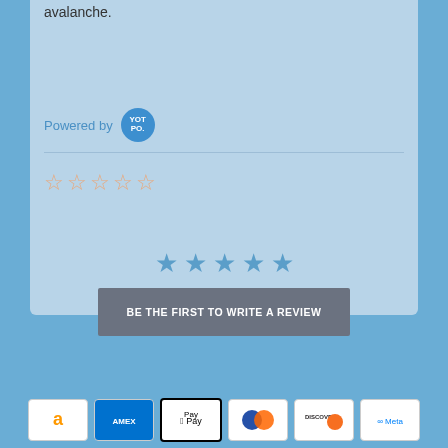avalanche.
[Figure (logo): Powered by Yotpo logo badge]
[Figure (other): Five empty orange star rating]
[Figure (other): Five filled blue stars]
BE THE FIRST TO WRITE A REVIEW
[Figure (other): Payment icons: Amazon, Amex, Apple Pay, Diners Club, Discover, Meta Pay]